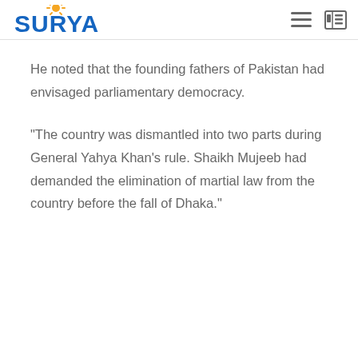SURYAA
He noted that the founding fathers of Pakistan had envisaged parliamentary democracy.
"The country was dismantled into two parts during General Yahya Khan's rule. Shaikh Mujeeb had demanded the elimination of martial law from the country before the fall of Dhaka."